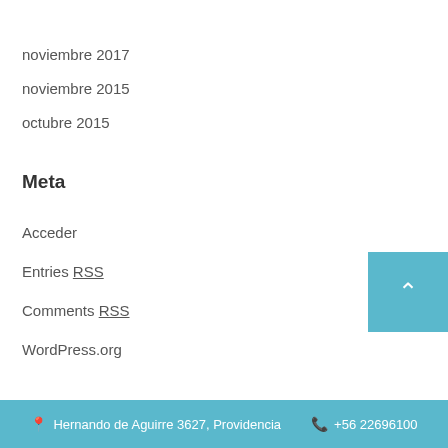noviembre 2017
noviembre 2015
octubre 2015
Meta
Acceder
Entries RSS
Comments RSS
WordPress.org
Hernando de Aguirre 3627, Providencia   +56 22696100